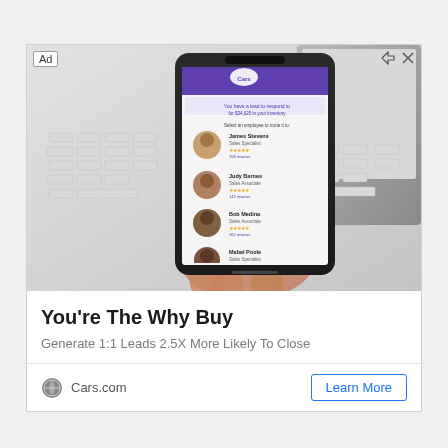[Figure (photo): Advertisement card showing a hand holding a smartphone displaying a Cars.com app interface with employee profiles and star ratings, in front of a white keyboard and laptop. Ad label in top left corner, close/skip controls in top right.]
You're The Why Buy
Generate 1:1 Leads 2.5X More Likely To Close
Cars.com
Learn More